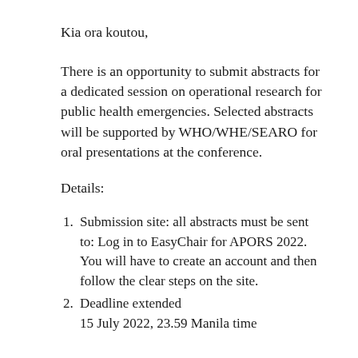Kia ora koutou,
There is an opportunity to submit abstracts for a dedicated session on operational research for public health emergencies. Selected abstracts will be supported by WHO/WHE/SEARO for oral presentations at the conference.
Details:
Submission site: all abstracts must be sent to: Log in to EasyChair for APORS 2022. You will have to create an account and then follow the clear steps on the site.
Deadline extended
15 July 2022, 23.59 Manila time